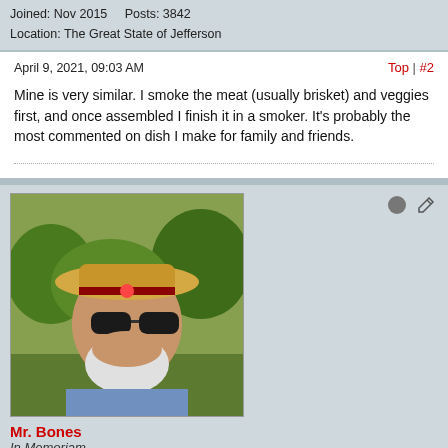Joined: Nov 2015    Posts: 3842
Location: The Great State of Jefferson
April 9, 2021, 09:03 AM
Top | #2
Mine is very similar. I smoke the meat (usually brisket) and veggies first, and once assembled I finish it in a smoker. It's probably the most commented on dish I make for family and friends.
[Figure (photo): Avatar photo of Mr. Bones - man with cowboy hat and sunglasses outdoors]
Mr. Bones
In Memoriam
Joined: Sep 2016    Posts: 11728
Location: Kansas Territory
April 9, 2021, 01:23 PM
Top | #3